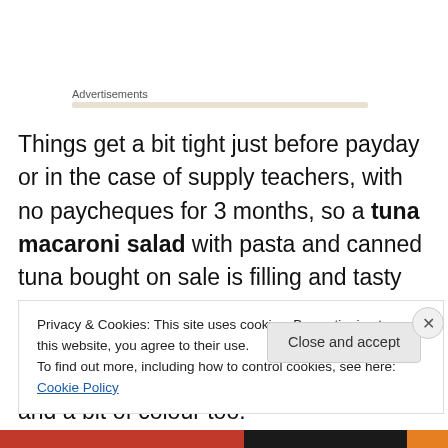Advertisements
Things get a bit tight just before payday or in the case of supply teachers, with no paycheques for 3 months, so a tuna macaroni salad with pasta and canned tuna bought on sale is filling and tasty too. I'd usually throw some diced celery into my salad but in this case, diced raw carrots made for a nice, crunchy bite and a bit of colour too.
Privacy & Cookies: This site uses cookies. By continuing to use this website, you agree to their use.
To find out more, including how to control cookies, see here: Cookie Policy
Close and accept